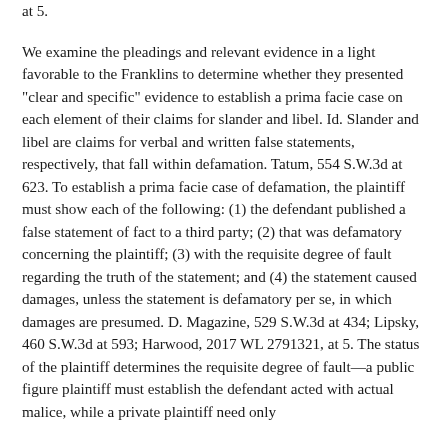at 5.
We examine the pleadings and relevant evidence in a light favorable to the Franklins to determine whether they presented "clear and specific" evidence to establish a prima facie case on each element of their claims for slander and libel. Id. Slander and libel are claims for verbal and written false statements, respectively, that fall within defamation. Tatum, 554 S.W.3d at 623. To establish a prima facie case of defamation, the plaintiff must show each of the following: (1) the defendant published a false statement of fact to a third party; (2) that was defamatory concerning the plaintiff; (3) with the requisite degree of fault regarding the truth of the statement; and (4) the statement caused damages, unless the statement is defamatory per se, in which damages are presumed. D. Magazine, 529 S.W.3d at 434; Lipsky, 460 S.W.3d at 593; Harwood, 2017 WL 2791321, at 5. The status of the plaintiff determines the requisite degree of fault—a public figure plaintiff must establish the defendant acted with actual malice, while a private plaintiff need only